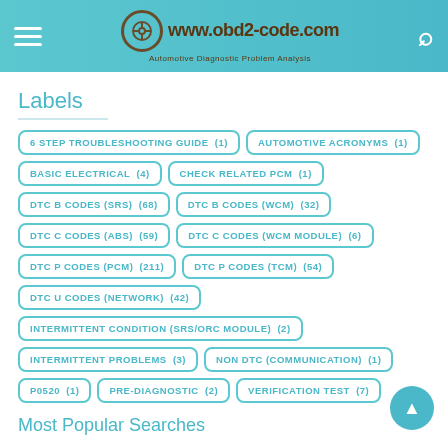www.obd2-code.com — Automotive Diagnostic Problem Analysis
Labels
6 STEP TROUBLESHOOTING GUIDE  (1)
AUTOMOTIVE ACRONYMS  (1)
BASIC ELECTRICAL  (4)
CHECK RELATED PCM  (1)
DTC B CODES (SRS)  (68)
DTC B CODES (WCM)  (32)
DTC C CODES (ABS)  (59)
DTC C CODES (WCM MODULE)  (6)
DTC P CODES (PCM)  (211)
DTC P CODES (TCM)  (54)
DTC U CODES (NETWORK)  (42)
INTERMITTENT CONDITION (SRS/ORC MODULE)  (2)
INTERMITTENT PROBLEMS  (3)
NON DTC (COMMUNICATION)  (1)
P0520  (1)
PRE-DIAGNOSTIC  (2)
VERIFICATION TEST  (7)
Most Popular Searches